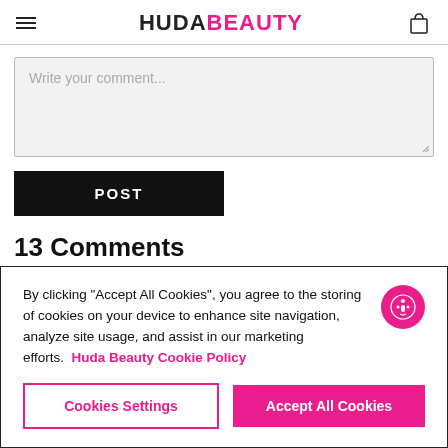HUDA BEAUTY
Write your comment...
POST
13 Comments
Priyanka rawat
By clicking “Accept All Cookies”, you agree to the storing of cookies on your device to enhance site navigation, analyze site usage, and assist in our marketing efforts. Huda Beauty Cookie Policy
Cookies Settings
Accept All Cookies